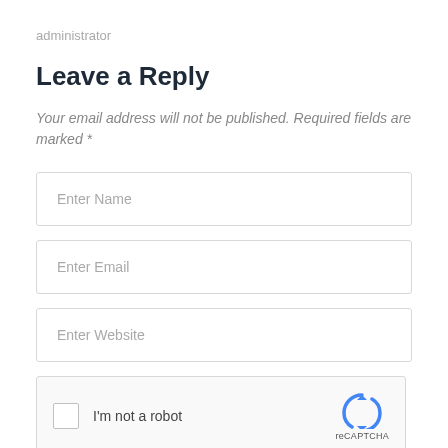administrator
Leave a Reply
Your email address will not be published. Required fields are marked *
Enter Name
Enter Email
Enter Website
[Figure (screenshot): reCAPTCHA widget with checkbox, 'I'm not a robot' text, and reCAPTCHA logo]